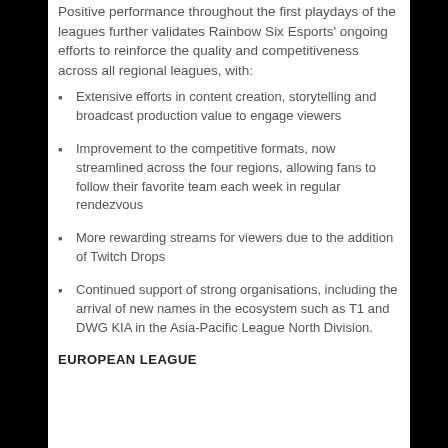Positive performance throughout the first playdays of the leagues further validates Rainbow Six Esports' ongoing efforts to reinforce the quality and competitiveness across all regional leagues, with:
Extensive efforts in content creation, storytelling and broadcast production value to engage viewers
Improvement to the competitive formats, now streamlined across the four regions, allowing fans to follow their favorite team each week in regular rendezvous
More rewarding streams for viewers due to the addition of Twitch Drops
Continued support of strong organisations, including the arrival of new names in the ecosystem such as T1 and DWG KIA in the Asia-Pacific League North Division.
EUROPEAN LEAGUE